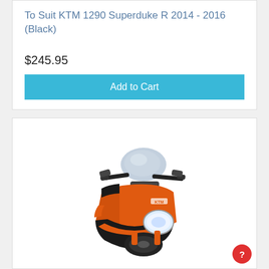To Suit KTM 1290 Superduke R 2014 - 2016 (Black)
$245.95
Add to Cart
[Figure (photo): Front view of KTM 1290 Superduke R motorcycle with aftermarket windscreen, showing orange and black body with silver forks]